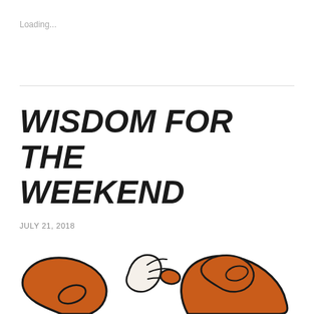Loading...
WISDOM FOR THE WEEKEND
JULY 21, 2018
[Figure (illustration): Partial illustration of a fox or animal with orange/brown and black colors, showing paws and body, cropped at the bottom of the page]